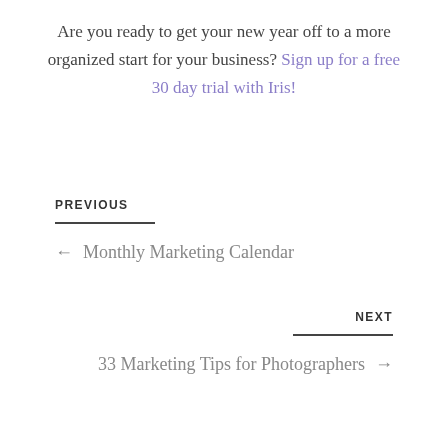Are you ready to get your new year off to a more organized start for your business? Sign up for a free 30 day trial with Iris!
PREVIOUS
← Monthly Marketing Calendar
NEXT
33 Marketing Tips for Photographers →